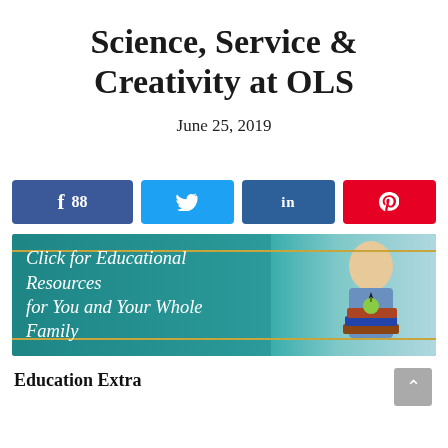Science, Service & Creativity at OLS
June 25, 2019
[Figure (infographic): Social share buttons row: Facebook (88 shares), Twitter, LinkedIn, Pinterest]
[Figure (infographic): Banner advertisement: 'Click for Educational Resources for You and Your Whole Family' on teal background with gold horizontal lines and photo of a young boy in school uniform holding books with an apple on top]
Education Extra